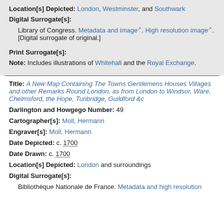Location[s] Depicted: London, Westminster, and Southwark
Digital Surrogate[s]:
Library of Congress. Metadata and image. High resolution image. [Digital surrogate of original.]
Print Surrogate[s]:
Note: Includes illustrations of Whitehall and the Royal Exchange.
Title: A New Map Containing The Towns Gentlemens Houses Villages and other Remarks Round London, as from London to Windsor, Ware, Chelmsford, the Hope, Tunbridge, Guildford &c
Darlington and Howgego Number: 49
Cartographer[s]: Moll, Hermann
Engraver[s]: Moll, Hermann
Date Depicted: c. 1700
Date Drawn: c. 1700
Location[s] Depicted: London and surroundings
Digital Surrogate[s]:
Bibliothèque Nationale de France. Metadata and high resolution